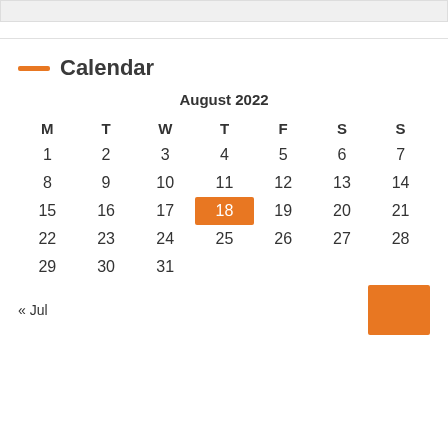Calendar
| M | T | W | T | F | S | S |
| --- | --- | --- | --- | --- | --- | --- |
| August 2022 |  |  |  |  |  |  |
| 1 | 2 | 3 | 4 | 5 | 6 | 7 |
| 8 | 9 | 10 | 11 | 12 | 13 | 14 |
| 15 | 16 | 17 | 18 | 19 | 20 | 21 |
| 22 | 23 | 24 | 25 | 26 | 27 | 28 |
| 29 | 30 | 31 |  |  |  |  |
« Jul